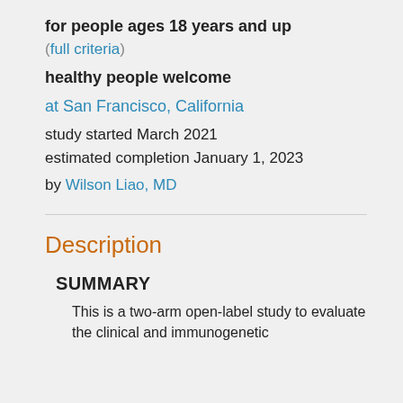for people ages 18 years and up
(full criteria)
healthy people welcome
at San Francisco, California
study started March 2021
estimated completion January 1, 2023
by Wilson Liao, MD
Description
SUMMARY
This is a two-arm open-label study to evaluate the clinical and immunogenetic